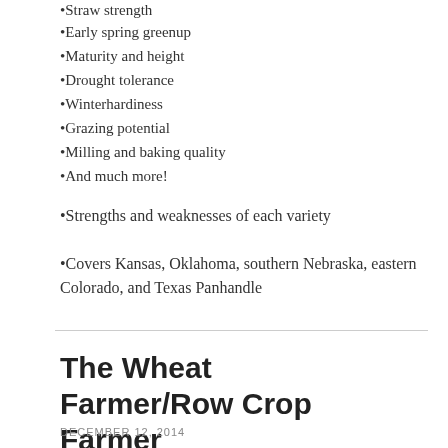Straw strength
Early spring greenup
Maturity and height
Drought tolerance
Winterhardiness
Grazing potential
Milling and baking quality
And much more!
Strengths and weaknesses of each variety
Covers Kansas, Oklahoma, southern Nebraska, eastern Colorado, and Texas Panhandle
The Wheat Farmer/Row Crop Farmer
DECEMBER 12, 2014